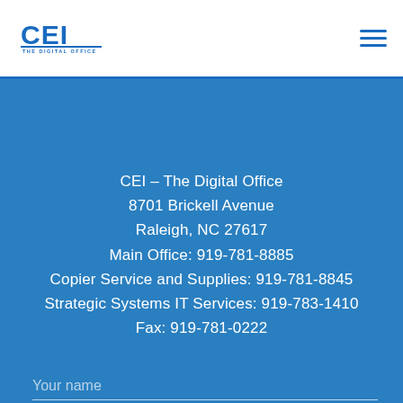[Figure (logo): CEI The Digital Office logo in blue]
CEI – The Digital Office
8701 Brickell Avenue
Raleigh, NC 27617
Main Office: 919-781-8885
Copier Service and Supplies: 919-781-8845
Strategic Systems IT Services: 919-783-1410
Fax: 919-781-0222
Your name
Your Phone Number